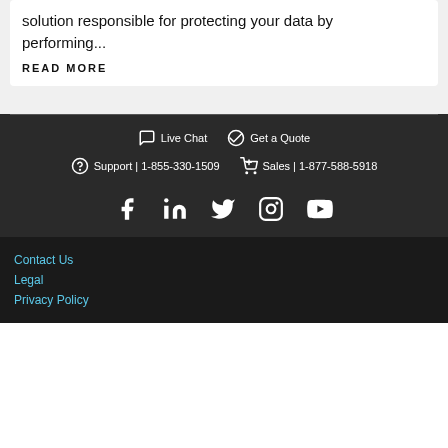solution responsible for protecting your data by performing...
READ MORE
Live Chat  Get a Quote  Support | 1-855-330-1509  Sales | 1-877-588-5918
[Figure (other): Social media icons: Facebook, LinkedIn, Twitter, Instagram, YouTube]
Contact Us
Legal
Privacy Policy